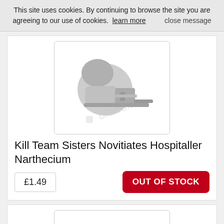This site uses cookies. By continuing to browse the site you are agreeing to our use of cookies.  learn more      close message
[Figure (photo): 3D miniature figure of a hooded arm holding a narthecium medical device, grey resin, on white background with bitzbox watermark]
Kill Team Sisters Novitiates Hospitaller Narthecium
£1.49
OUT OF STOCK
[Figure (photo): 3D miniature figure of a hooded arm holding a knife/dagger, grey resin, on white background with bitzbox watermark]